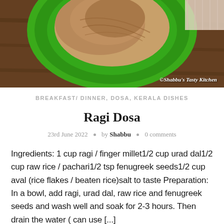[Figure (photo): Top portion of a food photo showing ragi dosa served on a green plate on a dark wooden surface. Watermark reads: ©Shabbu's Tasty Kitchen]
BREAKFAST/ DINNER, DOSA, KERALA DISHES
Ragi Dosa
23rd June 2022 • by Shabbu • 0 comments
Ingredients: 1 cup ragi / finger millet1/2 cup urad dal1/2 cup raw rice / pachari1/2 tsp fenugreek seeds1/2 cup aval (rice flakes / beaten rice)salt to taste Preparation: In a bowl, add ragi, urad dal, raw rice and fenugreek seeds and wash well and soak for 2-3 hours. Then drain the water ( can use [...]